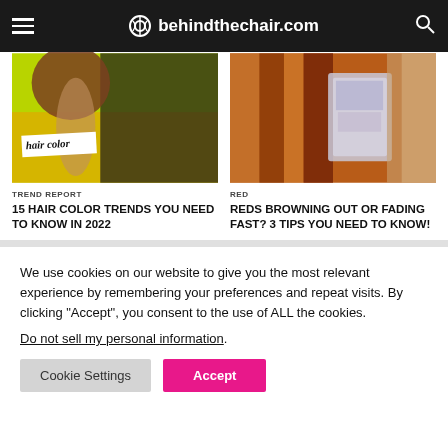behindthechair.com
[Figure (photo): Hair color article thumbnail showing two women with natural curly hair and dark wavy hair on a yellow-green background, with 'hair color' label]
TREND REPORT
15 HAIR COLOR TRENDS YOU NEED TO KNOW IN 2022
[Figure (photo): Red hair coloring process, foil highlights with purple tones on auburn/red hair]
RED
REDS BROWNING OUT OR FADING FAST? 3 TIPS YOU NEED TO KNOW!
We use cookies on our website to give you the most relevant experience by remembering your preferences and repeat visits. By clicking “Accept”, you consent to the use of ALL the cookies.
Do not sell my personal information.
Cookie Settings
Accept